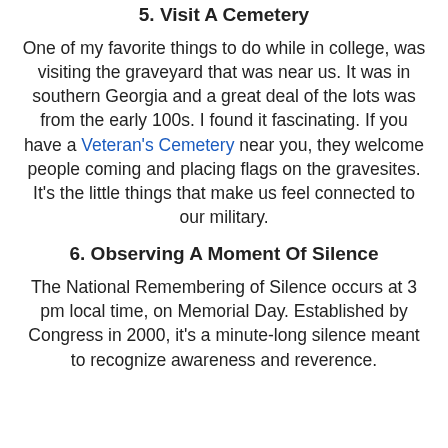5. Visit A Cemetery
One of my favorite things to do while in college, was visiting the graveyard that was near us. It was in southern Georgia and a great deal of the lots was from the early 100s. I found it fascinating. If you have a Veteran's Cemetery near you, they welcome people coming and placing flags on the gravesites. It's the little things that make us feel connected to our military.
6. Observing A Moment Of Silence
The National Remembering of Silence occurs at 3 pm local time, on Memorial Day. Established by Congress in 2000, it's a minute-long silence meant to recognize awareness and reverence.